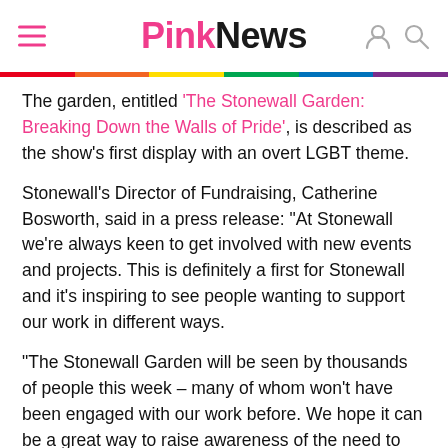PinkNews
The garden, entitled 'The Stonewall Garden: Breaking Down the Walls of Pride', is described as the show's first display with an overt LGBT theme.
Stonewall's Director of Fundraising, Catherine Bosworth, said in a press release: "At Stonewall we're always keen to get involved with new events and projects. This is definitely a first for Stonewall and it's inspiring to see people wanting to support our work in different ways.
"The Stonewall Garden will be seen by thousands of people this week – many of whom won't have been engaged with our work before. We hope it can be a great way to raise awareness of the need to stamp out prejudice and homophobia."